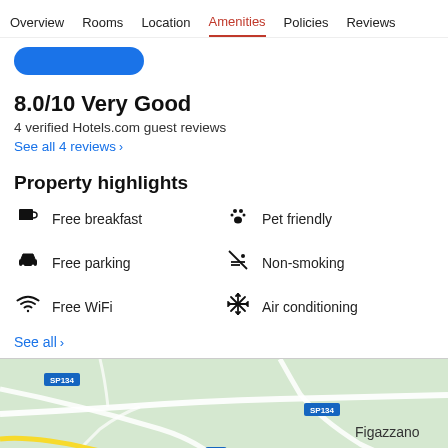Overview  Rooms  Location  Amenities  Policies  Reviews
8.0/10 Very Good
4 verified Hotels.com guest reviews
See all 4 reviews  >
Property highlights
Free breakfast
Pet friendly
Free parking
Non-smoking
Free WiFi
Air conditioning
See all  >
[Figure (map): Google map showing Figazzano area with road badges SP134 and SP12]